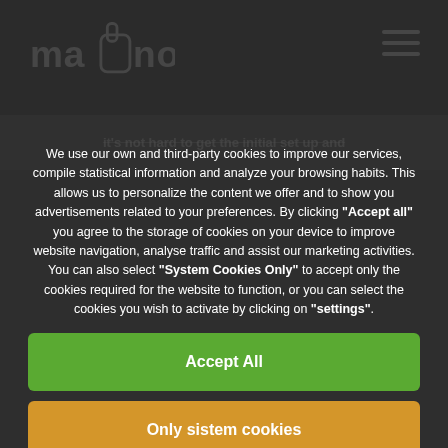ma[hand icon]no — navigation bar with hamburger menu
it's not hard to get the initial set up and
We use our own and third-party cookies to improve our services, compile statistical information and analyze your browsing habits. This allows us to personalize the content we offer and to show you advertisements related to your preferences. By clicking "Accept all" you agree to the storage of cookies on your device to improve website navigation, analyse traffic and assist our marketing activities. You can also select "System Cookies Only" to accept only the cookies required for the website to function, or you can select the cookies you wish to activate by clicking on "settings".
Accept All
Only sistem cookies
Configuration